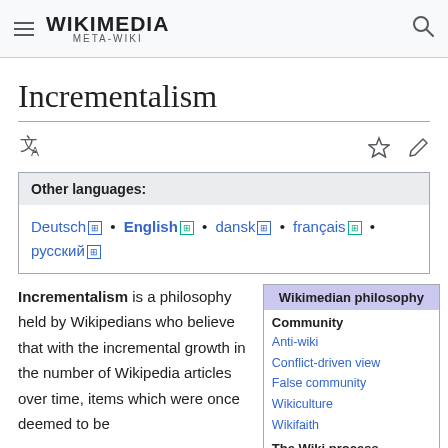WIKIMEDIA META-WIKI
Incrementalism
Other languages: Deutsch • English • dansk • français • русский
Incrementalism is a philosophy held by Wikipedians who believe that with the incremental growth in the number of Wikipedia articles over time, items which were once deemed to be
Wikimedian philosophy
Community
Anti-wiki
Conflict-driven view
False community
Wikiculture
Wikifaith
The Wiki process
The wiki way
Darwikinism
Power structure